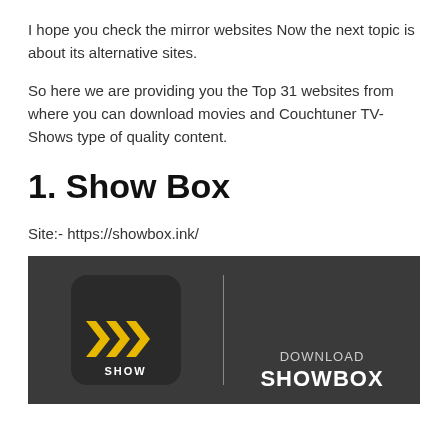I hope you check the mirror websites Now the next topic is about its alternative sites.
So here we are providing you the Top 31 websites from where you can download movies and Couchtuner TV-Shows type of quality content.
1. Show Box
Site:- https://showbox.ink/
[Figure (screenshot): ShowBox app promotional image on dark background showing the ShowBox logo (chevron arrows with 'SHOW' text) on the left, a vertical divider, and 'DOWNLOAD SHOWBOX' text on the right.]